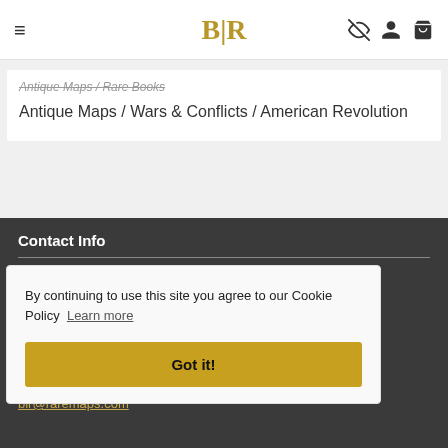BLR — Barry Lawrence Ruderman Antique Maps
Antique Maps / Rare Books
Antique Maps / Wars & Conflicts / American Revolution
Contact Info
Barry Lawrence Ruderman
By continuing to use this site you agree to our Cookie Policy  Learn more
Got it!
blr@raremaps.com